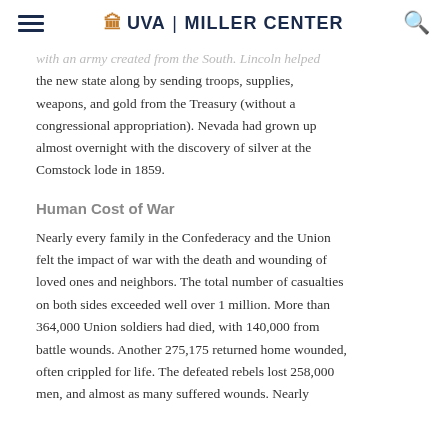UVA | MILLER CENTER
...with an army created from the South. Lincoln helped the new state along by sending troops, supplies, weapons, and gold from the Treasury (without a congressional appropriation). Nevada had grown up almost overnight with the discovery of silver at the Comstock lode in 1859.
Human Cost of War
Nearly every family in the Confederacy and the Union felt the impact of war with the death and wounding of loved ones and neighbors. The total number of casualties on both sides exceeded well over 1 million. More than 364,000 Union soldiers had died, with 140,000 from battle wounds. Another 275,175 returned home wounded, often crippled for life. The defeated rebels lost 258,000 men, and almost as many suffered wounds. Nearly